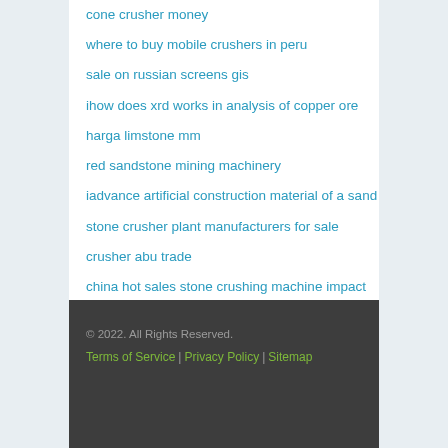cone crusher money
where to buy mobile crushers in peru
sale on russian screens gis
ihow does xrd works in analysis of copper ore
harga limstone mm
red sandstone mining machinery
iadvance artificial construction material of a sand
stone crusher plant manufacturers for sale
crusher abu trade
china hot sales stone crushing machine impact crusher mobile crusher vpi1315
© 2022. All Rights Reserved. | Terms of Service | Privacy Policy | Sitemap